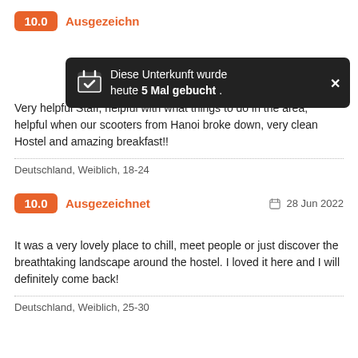10.0  Ausgezeichnet
[Figure (infographic): Dark tooltip overlay: calendar icon with checkmark, text 'Diese Unterkunft wurde heute 5 Mal gebucht .' and X close button]
Very helpful Staff, helpful with what things to do in the area, helpful when our scooters from Hanoi broke down, very clean Hostel and amazing breakfast!!
Deutschland, Weiblich, 18-24
10.0  Ausgezeichnet     28 Jun 2022
It was a very lovely place to chill, meet people or just discover the breathtaking landscape around the hostel. I loved it here and I will definitely come back!
Deutschland, Weiblich, 25-30